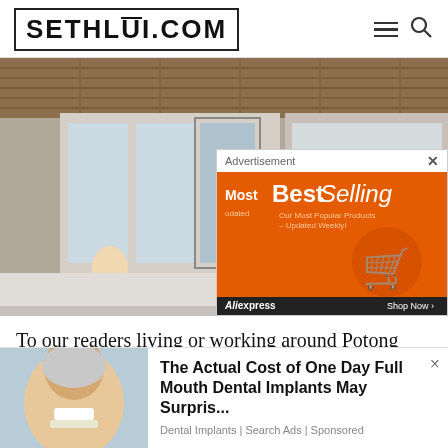SETHLUI.COM
[Figure (photo): Exterior photo of a shop/cafe with wooden ceiling, glass doors, and a person sitting outside. An advertisement overlay appears in the bottom-right: 'Most BestSelling - Our Most Popular Products – Updated Weekly! AliExpress Shop Now >']
To our readers living or working around Potong Pasir, this one is for you. Meet Kizuna, a relatively new
[Figure (photo): Bottom ad: woman with dental veneers. 'The Actual Cost of One Day Full Mouth Dental Implants May Surpris... Dental Implants | Search Ads | Sponsored']